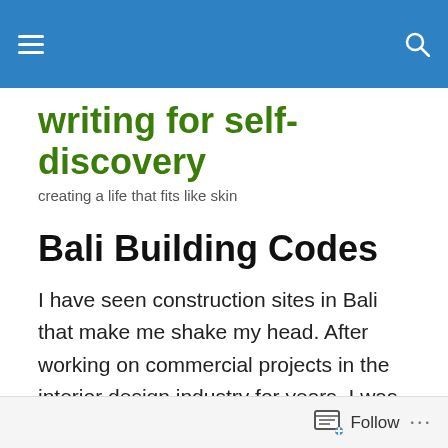[Navigation bar with hamburger menu and search icon]
writing for self-discovery
creating a life that fits like skin
Bali Building Codes
I have seen construction sites in Bali that make me shake my head. After working on commercial projects in the interior design industry for years, I was familiar with strictly enforced building codes.  In Bali I've heard of only one: nothing can be built higher than a palm tree. There are some mighty tall palm trees, but a building over 3 storeys
Follow ...